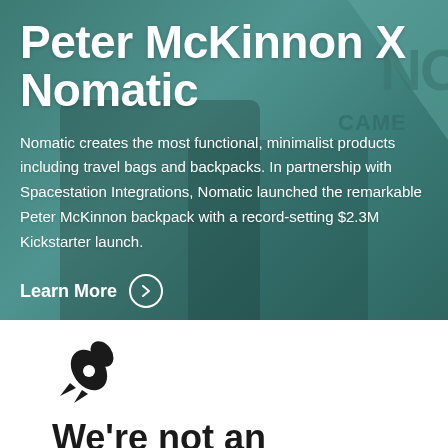[Figure (photo): Hero banner with teal/dark green overlay on a background photo of a person holding a camera near water. Upper right shows 'NOMATIC CAMERA' branding watermark in teal. The overlay gives a colored wash effect over the photo.]
Peter McKinnon X Nomatic
Nomatic creates the most functional, minimalist products including travel bags and backpacks. In partnership with Spacestation Integrations, Nomatic launched the remarkable Peter McKinnon backpack with a record-setting $2.3M Kickstarter launch.
Learn More ›
[Figure (logo): Black rocket ship icon / logo]
We're not an